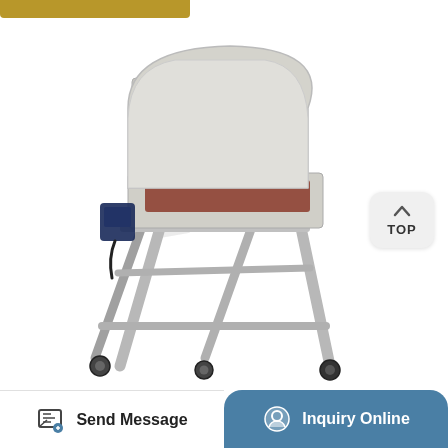[Figure (photo): A stainless steel industrial machine (possibly a dough sheeter or food processing machine) mounted on a tall A-frame stand with caster wheels. The machine has a rounded metallic hood/cover on top and a motor visible on the left side. The stand has cross-bracing for stability. Background is white. A faint watermark text is visible in the center.]
TOP
Send Message
Inquiry Online